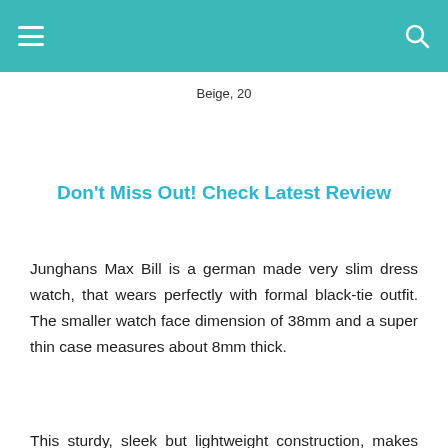Beige, 20
Don't Miss Out! Check Latest Review
Junghans Max Bill is a german made very slim dress watch, that wears perfectly with formal black-tie outfit. The smaller watch face dimension of 38mm and a super thin case measures about 8mm thick.
This sturdy, sleek but lightweight construction, makes your Junghans Ultra-Thin Dress Watch to hide easily under your sleeves, while on your wrist. Its a perfect white-dial super-skim watch for celebrities, big businessmen, with a classy touch.